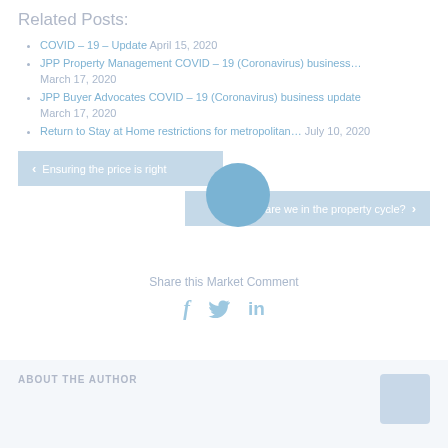Related Posts:
COVID – 19 – Update April 15, 2020
JPP Property Management COVID – 19 (Coronavirus) business… March 17, 2020
JPP Buyer Advocates COVID – 19 (Coronavirus) business update March 17, 2020
Return to Stay at Home restrictions for metropolitan… July 10, 2020
< Ensuring the price is right
Where are we in the property cycle? >
Share this Market Comment
ABOUT THE AUTHOR